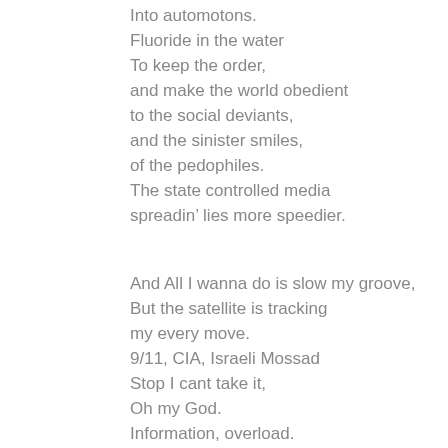Into automotons.
Fluoride in the water
To keep the order,
and make the world obedient
to the social deviants,
and the sinister smiles,
of the pedophiles.
The state controlled media
spreadin' lies more speedier.

And All I wanna do is slow my groove,
But the satellite is tracking
my every move.
9/11, CIA, Israeli Mossad
Stop I cant take it,
Oh my God.
Information, overload.
My poor little brain's
'bout to explode.
Tryin to find out
WHATS THE REAL TRUTH?
Is the world insane